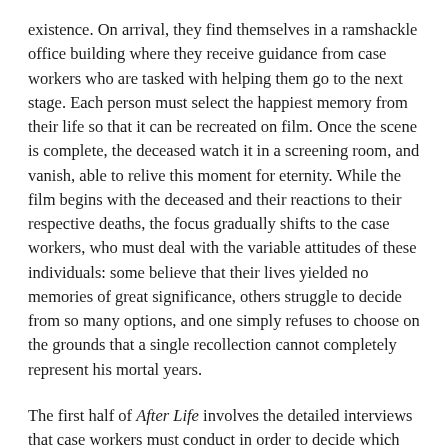existence. On arrival, they find themselves in a ramshackle office building where they receive guidance from case workers who are tasked with helping them go to the next stage. Each person must select the happiest memory from their life so that it can be recreated on film. Once the scene is complete, the deceased watch it in a screening room, and vanish, able to relive this moment for eternity. While the film begins with the deceased and their reactions to their respective deaths, the focus gradually shifts to the case workers, who must deal with the variable attitudes of these individuals: some believe that their lives yielded no memories of great significance, others struggle to decide from so many options, and one simply refuses to choose on the grounds that a single recollection cannot completely represent his mortal years.
The first half of After Life involves the detailed interviews that case workers must conduct in order to decide which memories to recreate, suggesting that such recollections constitute a stockpile of personal information that must be systematically